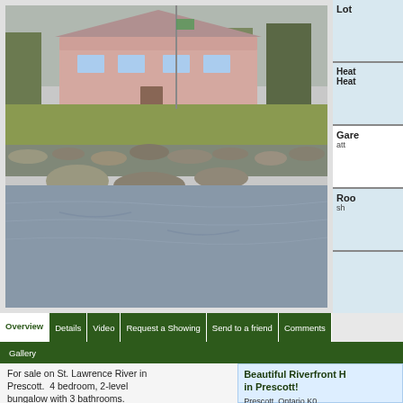[Figure (photo): Exterior photo of a pink/beige 2-level bungalow on the St. Lawrence River in Prescott, Ontario. Stone retaining wall along the riverbank, bare trees, green lawn, overcast sky.]
Lot
Heat/Heate
Gare
att
Roo
sh
Overview | Details | Video | Request a Showing | Send to a friend | Comments | Gallery
For sale on St. Lawrence River in Prescott.  4 bedroom, 2-level bungalow with 3 bathrooms.  Gorgeous riverfront property with
Beautiful Riverfront H in Prescott!
Prescott, Ontario K0...